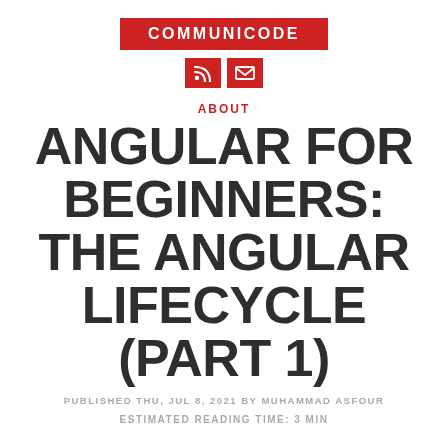COMMUNIODE
[Figure (logo): RSS feed icon and envelope/mail icon, both on red square backgrounds]
ABOUT
ANGULAR FOR BEGINNERS: THE ANGULAR LIFECYCLE (PART 1)
PUBLISHED THU, JUL 8, 2021 BY MUHAMMAD ASFOUR
ESTIMATED READING TIME: 3 MIN